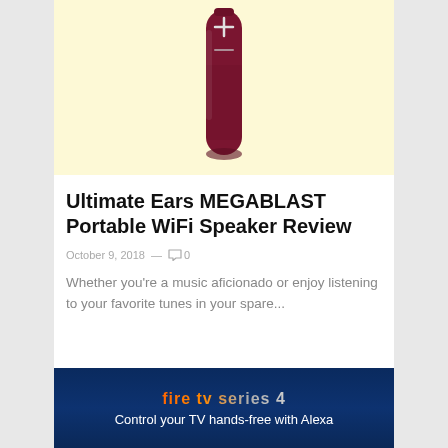[Figure (photo): Product photo of a dark red/maroon Ultimate Ears MEGABLAST portable speaker on a light yellow background]
Ultimate Ears MEGABLAST Portable WiFi Speaker Review
October 9, 2018 — 0
Whether you're a music aficionado or enjoy listening to your favorite tunes in your spare...
[Figure (screenshot): Fire TV advertisement banner with text 'Control your TV hands-free with Alexa' on a dark blue background]